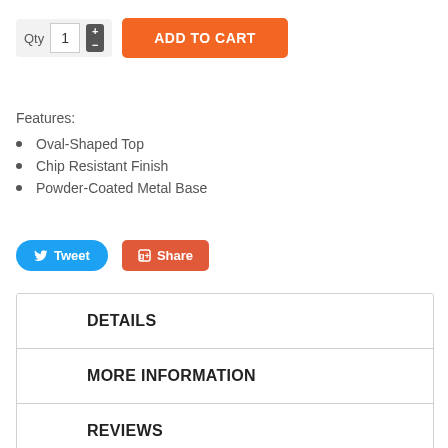[Figure (screenshot): Add to cart UI with quantity selector showing '1' and stepper buttons, and an orange 'ADD TO CART' button]
Features:
Oval-Shaped Top
Chip Resistant Finish
Powder-Coated Metal Base
[Figure (screenshot): Twitter Tweet button (blue, rounded) and Google+ Share button (red/orange, rounded square)]
DETAILS
MORE INFORMATION
REVIEWS